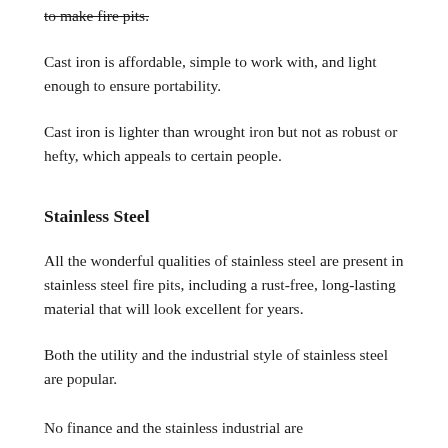to make fire pits.
Cast iron is affordable, simple to work with, and light enough to ensure portability.
Cast iron is lighter than wrought iron but not as robust or hefty, which appeals to certain people.
Stainless Steel
All the wonderful qualities of stainless steel are present in stainless steel fire pits, including a rust-free, long-lasting material that will look excellent for years.
Both the utility and the industrial style of stainless steel are popular.
No finance and the stainless industrial are